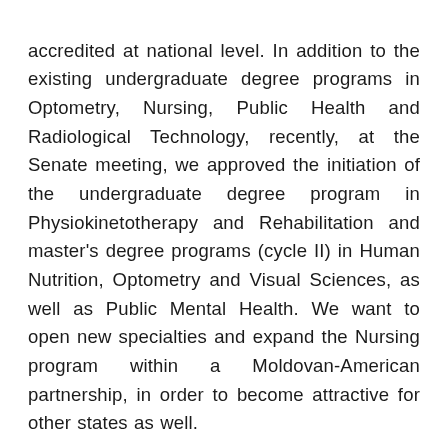accredited at national level. In addition to the existing undergraduate degree programs in Optometry, Nursing, Public Health and Radiological Technology, recently, at the Senate meeting, we approved the initiation of the undergraduate degree program in Physiokinetotherapy and Rehabilitation and master's degree programs (cycle II) in Human Nutrition, Optometry and Visual Sciences, as well as Public Mental Health. We want to open new specialties and expand the Nursing program within a Moldovan-American partnership, in order to become attractive for other states as well.
We have carried out many of the planned activities, but the most important thing is that we have not incurred wage arrears. We managed to save on energy, water and gas bills during the isolation period, when we closed the hostels, some study blocks, and asked a certain category of